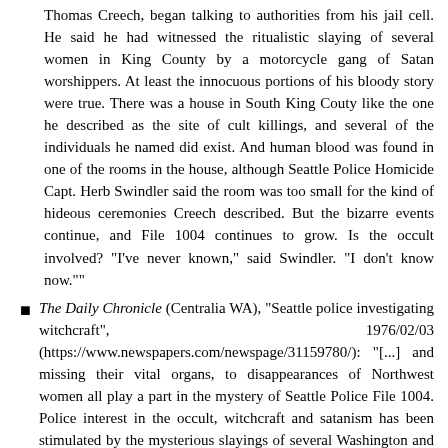Thomas Creech, began talking to authorities from his jail cell. He said he had witnessed the ritualistic slaying of several women in King County by a motorcycle gang of Satan worshippers. At least the innocuous portions of his bloody story were true. There was a house in South King Couty like the one he described as the site of cult killings, and several of the individuals he named did exist. And human blood was found in one of the rooms in the house, although Seattle Police Homicide Capt. Herb Swindler said the room was too small for the kind of hideous ceremonies Creech described. But the bizarre events continue, and File 1004 continues to grow. Is the occult involved? "I've never known," said Swindler. "I don't know now.""
The Daily Chronicle (Centralia WA), "Seattle police investigating witchcraft", 1976/02/03 (https://www.newspapers.com/newspage/31159780/): "[...] and missing their vital organs, to disappearances of Northwest women all play a part in the mystery of Seattle Police File 1004. Police interest in the occult, witchcraft and satanism has been stimulated by the mysterious slayings of several Washington and Oregon women and by the ravings of a murderer in Idaho. That plus the Charles Mansco [Manson?] legend and a new wave of animal mutilations have caused a host of law-jurisdiction officers...", also "[...] of the victim"